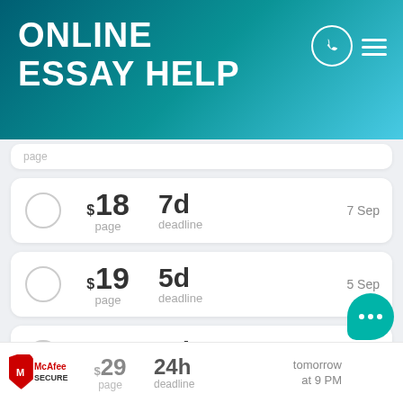ONLINE ESSAY HELP
$18/page, 7d deadline, 7 Sep
$19/page, 5d deadline, 5 Sep
$22/page, 3d deadline, 3 Sep
$26/page, 2d deadline, 2 Sep
$29/page, 24h deadline, tomorrow at 9 PM
[Figure (logo): McAfee SECURE logo]
[Figure (illustration): Teal chat bubble with three dots]